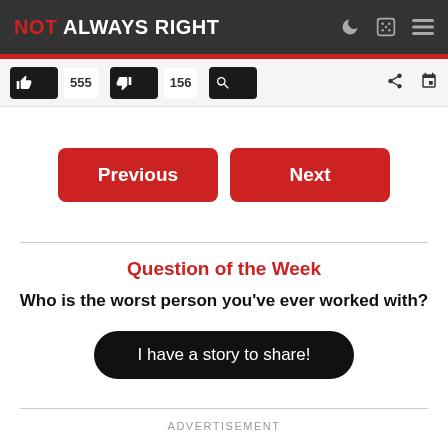NOT ALWAYS RIGHT
[Figure (screenshot): Social/action bar with thumbs up (555), thumbs down (156), and other icons]
Previous | Next
Question of the Week
Who is the worst person you’ve ever worked with?
I have a story to share!
ADVERTISEMENT